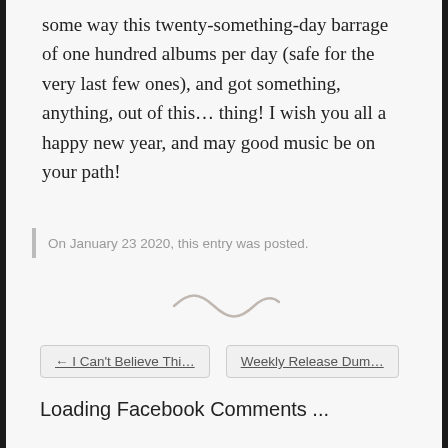some way this twenty-something-day barrage of one hundred albums per day (safe for the very last few ones), and got something, anything, out of this… thing! I wish you all a happy new year, and may good music be on your path!
On January 23 2020, this entry was posted.
[Figure (illustration): Decorative tilde/swirl divider]
← I Can't Believe Thi…
Weekly Release Dum…
Loading Facebook Comments ...